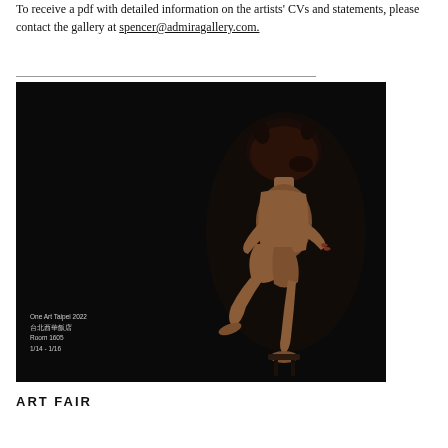To receive a pdf with detailed information on the artists' CVs and statements, please contact the gallery at spencer@admiragallery.com.
[Figure (photo): Promotional image for One Art Taipei 2022 featuring artist Yi Lun Lai (賴逸倫). Dark background with a sculptural figure of a seated human body with an animal (boar/pig) head. A name tag overlay reads 'Yi Lun Lai 賴逸倫'. Red text 'Personal Fable' appears mid-image. Bottom text reads: One Art Taipei 2022, 台北西華飯店, Room 1605, 1/14 - 1/16.]
ART FAIR